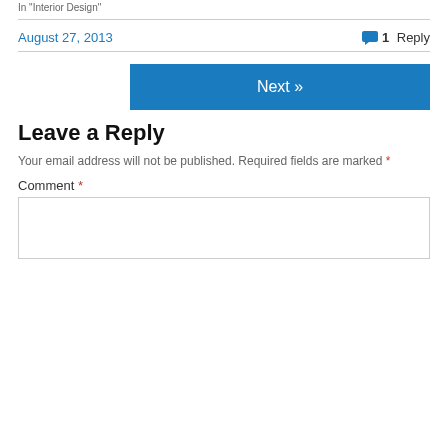In "Interior Design"
August 27, 2013
1 Reply
Next »
Leave a Reply
Your email address will not be published. Required fields are marked *
Comment *